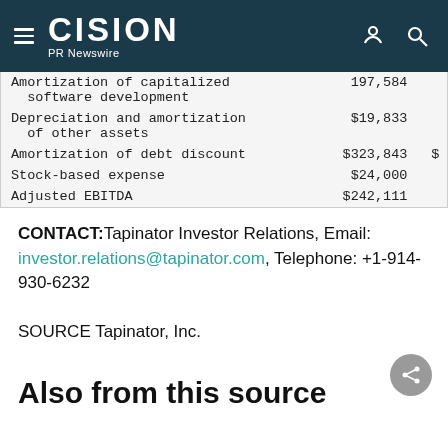CISION PR Newswire
| Description | Amount |  |
| --- | --- | --- |
| Amortization of capitalized software development | 197,584 |  |
| Depreciation and amortization of other assets | $19,833 |  |
| Amortization of debt discount | $323,843 | $ |
| Stock-based expense | $24,000 |  |
| Adjusted EBITDA | $242,111 |  |
CONTACT: Tapinator Investor Relations, Email: investor.relations@tapinator.com, Telephone: +1-914-930-6232
SOURCE Tapinator, Inc.
Also from this source